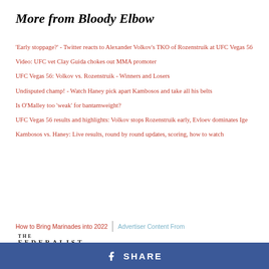More from Bloody Elbow
'Early stoppage?' - Twitter reacts to Alexander Volkov's TKO of Rozenstruik at UFC Vegas 56
Video: UFC vet Clay Guida chokes out MMA promoter
UFC Vegas 56: Volkov vs. Rozenstruik - Winners and Losers
Undisputed champ! - Watch Haney pick apart Kambosos and take all his belts
Is O'Malley too 'weak' for bantamweight?
UFC Vegas 56 results and highlights: Volkov stops Rozenstruik early, Evloev dominates Ige
Kambosos vs. Haney: Live results, round by round updates, scoring, how to watch
How to Bring Marinades into 2022
Advertiser Content From
[Figure (logo): The Federalist logo]
SHARE